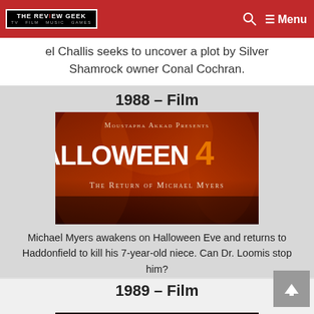THE REVIEW GEEK — TV FILM MUSIC GAMES — Menu
el Challis seeks to uncover a plot by Silver Shamrock owner Conal Cochran.
1988 – Film
[Figure (photo): Movie title card for Halloween 4: The Return of Michael Myers. Text reads: Moustapha Akkad Presents Halloween 4 The Return of Michael Myers on a red/orange flame background.]
Michael Myers awakens on Halloween Eve and returns to Haddonfield to kill his 7-year-old niece. Can Dr. Loomis stop him?
1989 – Film
[Figure (photo): Partial movie title card for Halloween 5, showing the stylized white text 'HALLOWEEN 5' on a dark background, partially cropped.]